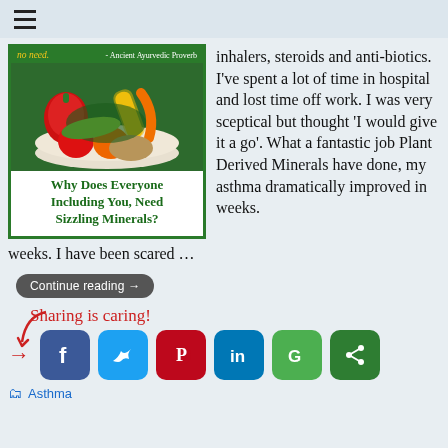≡
[Figure (illustration): Book cover image showing a bowl of vegetables with text 'Why Does Everyone Including You, Need Sizzling Minerals?' and top banner reading 'no need.' and '- Ancient Ayurvedic Proverb']
inhalers, steroids and anti-biotics. I've spent a lot of time in hospital and lost time off work. I was very sceptical but thought 'I would give it a go'. What a fantastic job Plant Derived Minerals have done, my asthma dramatically improved in weeks. I have been scared ...
Continue reading →
Sharing is caring!
[Figure (other): Social sharing icons: Facebook, Twitter, Pinterest, LinkedIn, Google+, ShareThis]
Asthma